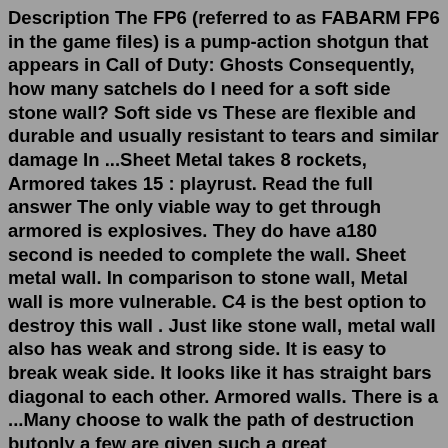Description The FP6 (referred to as FABARM FP6 in the game files) is a pump-action shotgun that appears in Call of Duty: Ghosts Consequently, how many satchels do I need for a soft side stone wall? Soft side vs These are flexible and durable and usually resistant to tears and similar damage In ...Sheet Metal takes 8 rockets, Armored takes 15 : playrust. Read the full answer The only viable way to get through armored is explosives. They do have a180 second is needed to complete the wall. Sheet metal wall. In comparison to stone wall, Metal wall is more vulnerable. C4 is the best option to destroy this wall . Just like stone wall, metal wall also has weak and strong side. It is easy to break weak side. It looks like it has straight bars diagonal to each other. Armored walls. There is a ...Many choose to walk the path of destruction butonly a few are given such a great responsibility Each structure and dino also has "damage type adjusters", where damage can be multiplied by type Ark Rex Saddle Blueprint Ragnarok This resource calculator application has al